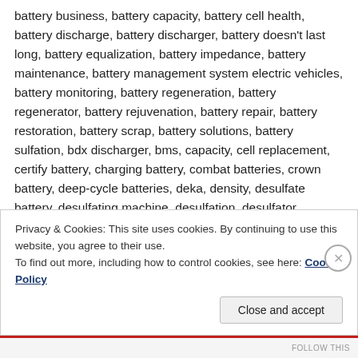battery business, battery capacity, battery cell health, battery discharge, battery discharger, battery doesn't last long, battery equalization, battery impedance, battery maintenance, battery management system electric vehicles, battery monitoring, battery regeneration, battery regenerator, battery rejuvenation, battery repair, battery restoration, battery scrap, battery solutions, battery sulfation, bdx discharger, bms, capacity, cell replacement, certify battery, charging battery, combat batteries, crown battery, deep-cycle batteries, deka, density, desulfate battery, desulfating machine, desulfation, desulfator, desulfator machine, desulphation, detect bad cells, discharger, east penn, electric go-kart batteries, electrical vehicle battery management systems, energic plus, energic regenerator, enersys, ev battery management systems, extend battery, fix forklift battery, fix
Privacy & Cookies: This site uses cookies. By continuing to use this website, you agree to their use. To find out more, including how to control cookies, see here: Cookie Policy